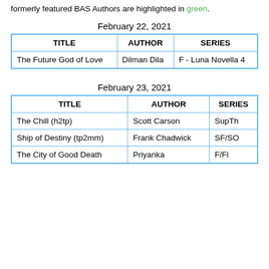formerly featured BAS Authors are highlighted in green.
February 22, 2021
| TITLE | AUTHOR | SERIES |
| --- | --- | --- |
| The Future God of Love | Dilman Dila | F - Luna Novella 4 |
February 23, 2021
| TITLE | AUTHOR | SERIES |
| --- | --- | --- |
| The Chill (h2tp) | Scott Carson | SupTh |
| Ship of Destiny (tp2mm) | Frank Chadwick | SF/SO |
| The City of Good Death | Priyanka | F/Fl |